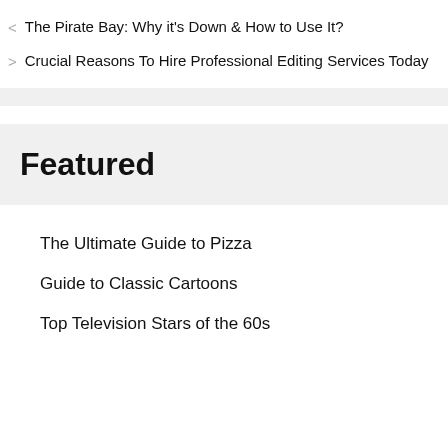< The Pirate Bay: Why it's Down & How to Use It?
> Crucial Reasons To Hire Professional Editing Services Today
Featured
The Ultimate Guide to Pizza
Guide to Classic Cartoons
Top Television Stars of the 60s